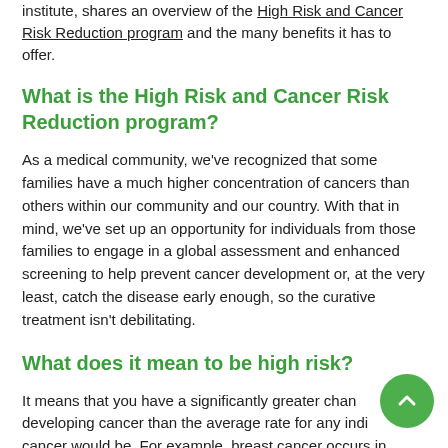institute, shares an overview of the High Risk and Cancer Risk Reduction program and the many benefits it has to offer.
What is the High Risk and Cancer Risk Reduction program?
As a medical community, we’ve recognized that some families have a much higher concentration of cancers than others within our community and our country. With that in mind, we’ve set up an opportunity for individuals from those families to engage in a global assessment and enhanced screening to help prevent cancer development or, at the very least, catch the disease early enough, so the curative treatment isn't debilitating.
What does it mean to be high risk?
It means that you have a significantly greater chance developing cancer than the average rate for any individual cancer would be. For example, breast cancer occurs in